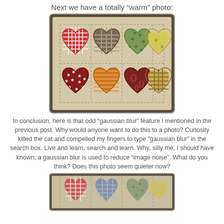Next we have a totally “warm” photo:
[Figure (photo): A quilted pillow with 8 fabric hearts in two rows: top row has red gingham, brown/gray plaid, green patterned, and yellow floral hearts; bottom row has dark red polka dot, orange striped, dark red paisley, and tan/gold plaid hearts. Pillow has a cream/beige quilted background with stitched grid pattern and dark frayed border edges.]
In conclusion, here is that odd “gaussian blur” feature I mentioned in the previous post.  Why would anyone want to do this to a photo?  Curiosity killed the cat and compelled my fingers to type “gaussian blur” in the search box.  Live and learn, search and learn.  Why, silly me, I should have known, a gaussian blur is used to reduce “image noise”.  What do you think?  Does this photo seem quieter now?
[Figure (photo): A blurred/gaussian-blurred version of the same quilted heart pillow, showing the top row of four hearts (red gingham, blue/gray, green, yellow) with a softer, less detailed appearance due to the blur effect applied.]